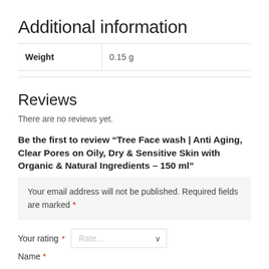Additional information
| Weight | 0.15 g |
| --- | --- |
Reviews
There are no reviews yet.
Be the first to review “Tree Face wash | Anti Aging, Clear Pores on Oily, Dry & Sensitive Skin with Organic & Natural Ingredients – 150 ml”
Your email address will not be published. Required fields are marked *
Your rating * Rate...
Name *